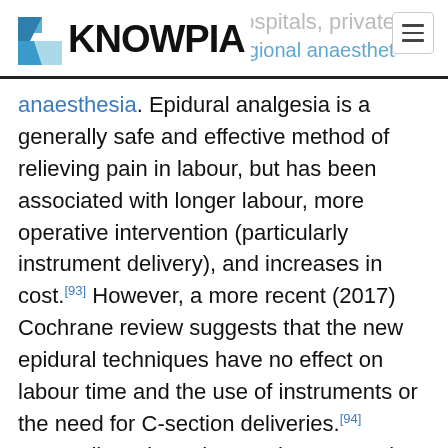KNOWPIA — hospitals, private regional anaesthetics (epidural (EDA) and spinal anaesthesia)
anaesthesia. Epidural analgesia is a generally safe and effective method of relieving pain in labour, but has been associated with longer labour, more operative intervention (particularly instrument delivery), and increases in cost.[93] However, a more recent (2017) Cochrane review suggests that the new epidural techniques have no effect on labour time and the use of instruments or the need for C-section deliveries.[94] Generally, pain and stress hormones rise throughout labour for women without epidurals, while pain, fear, and stress hormones decrease upon administration of epidural analgesia, but rise again later.[95] Medicine administered via epidural can cross the placenta enter the bloodstream of the fetus.[96] Epidural analgesia has no statistically significant impact on the